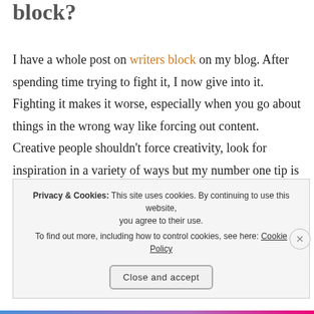block?
I have a whole post on writers block on my blog. After spending time trying to fight it, I now give into it. Fighting it makes it worse, especially when you go about things in the wrong way like forcing out content. Creative people shouldn't force creativity, look for inspiration in a variety of ways but my number one tip is to take a break.
H...
Privacy & Cookies: This site uses cookies. By continuing to use this website, you agree to their use. To find out more, including how to control cookies, see here: Cookie Policy
Close and accept